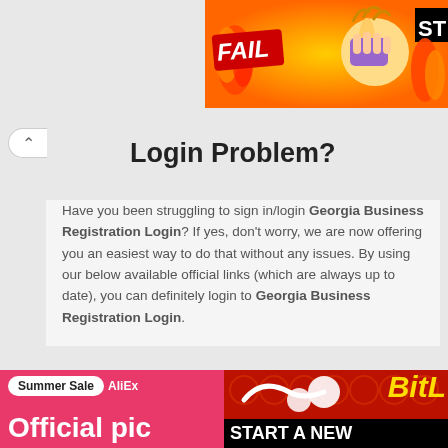[Figure (screenshot): Top advertisement banner showing FAIL badge with cartoon face and flames on orange/yellow background, with STA text cut off on right]
Login Problem?
Have you been struggling to sign in/login Georgia Business Registration Login? If yes, don't worry, we are now offering you an easiest way to do that without any issues. By using our below available official links (which are always up to date), you can definitely login to Georgia Business Registration Login.
[Figure (screenshot): Bottom advertisement banner split in two: left side pink with Summer Sale AliEx and Official pic text, right side red with BitL and START A NEW text on black strip]